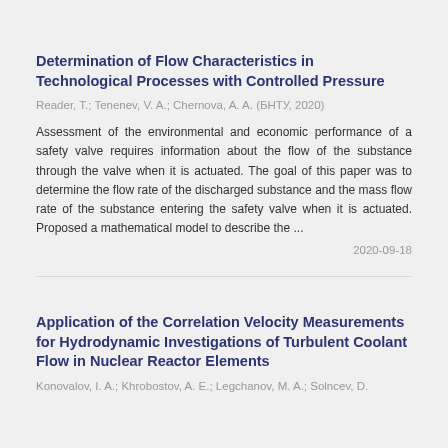Determination of Flow Characteristics in Technological Processes with Controlled Pressure
Reader, T.; Tenenev, V. A.; Chernova, A. A. (БНТУ, 2020)
Assessment of the environmental and economic performance of a safety valve requires information about the flow of the substance through the valve when it is actuated. The goal of this paper was to determine the flow rate of the discharged substance and the mass flow rate of the substance entering the safety valve when it is actuated. Proposed a mathematical model to describe the ...
2020-09-18
Application of the Correlation Velocity Measurements for Hydrodynamic Investigations of Turbulent Coolant Flow in Nuclear Reactor Elements
Konovalov, I. A.; Khrobostov, A. E.; Legchanov, M. A.; Solncev, D.